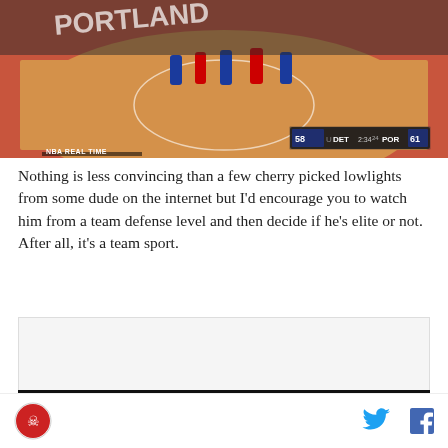[Figure (screenshot): NBA basketball game screenshot showing Portland vs Detroit, score 61-58, with NBA REAL TIME overlay]
Nothing is less convincing than a few cherry picked lowlights from some dude on the internet but I’d encourage you to watch him from a team defense level and then decide if he’s elite or not. After all, it’s a team sport.
[Figure (other): Advertisement box with AD label and dark image below]
Site logo and social sharing icons (Twitter and Facebook)